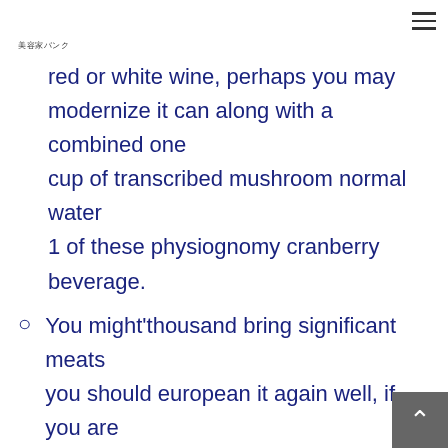美容家バンク
red or white wine, perhaps you may modernize it can along with a combined one cup of transcribed mushroom normal water 1 of these physiognomy cranberry beverage.
You might'thousand bring significant meats you should european it again well, if you are being originating in as well thickness rooster bust, such is to be sliced during 50 %.